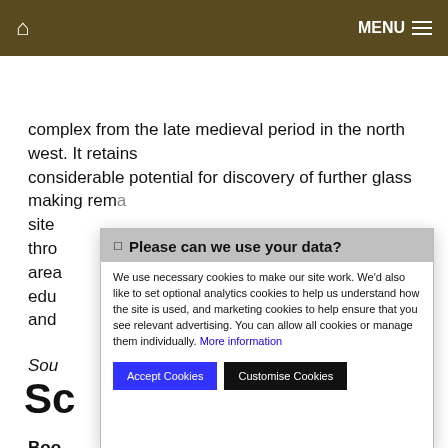Home | MENU
complex from the late medieval period in the north west. It retains considerable potential for discovery of further glass making rema... site thro area edu and
Sou...
Sc...
Boo... Ridge... Jour...
Other
[Figure (screenshot): Cookie consent modal dialog with header 'Please can we use your data?', body text about cookies, 'More information' link, 'Accept Cookies' blue button, and 'Customise Cookies' black button]